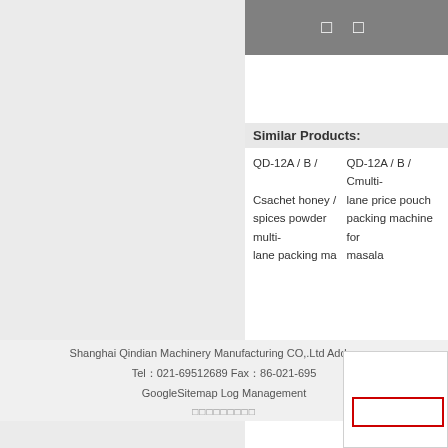□ □
Similar Products:
QD-12A / B / Csachet honey / spices powder multi- lane packing ma    QD-12A / B / Cmulti- lane price pouch packing machine for masala
Shanghai Qindian Machinery Manufacturing CO,.Ltd Address： Tel：021-69512689 Fax：86-021-695 GoogleSitemap Log Management
□□□□□□□□□